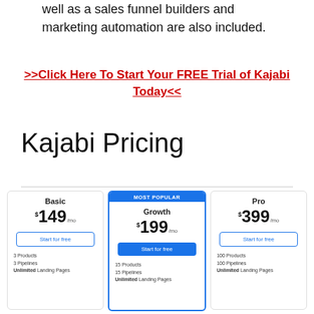well as a sales funnel builders and marketing automation are also included.
>>Click Here To Start Your FREE Trial of Kajabi Today<<
Kajabi Pricing
| Basic | Growth | Pro |
| --- | --- | --- |
| $149/mo | $199/mo | $399/mo |
| Start for free | Start for free | Start for free |
| 3 Products
3 Pipelines
Unlimited Landing Pages | 15 Products
15 Pipelines
Unlimited Landing Pages | 100 Products
100 Pipelines
Unlimited Landing Pages |